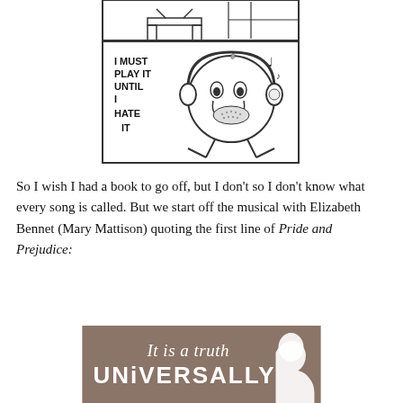[Figure (illustration): Comic panel showing a cartoon character with headphones crying, with text reading 'I MUST PLAY IT UNTIL I HATE IT'. The character has a round face, tears, and a music note nearby. There is a watermark on the right side.]
So I wish I had a book to go off, but I don't so I don't know what every song is called. But we start off the musical with Elizabeth Bennet (Mary Mattison) quoting the first line of Pride and Prejudice:
[Figure (illustration): Brown/taupe background image with white text reading 'It is a truth' in italic script on top, and 'UNIVERSALLY' in large bold uppercase letters below, with a white silhouette of a woman's profile on the right side.]